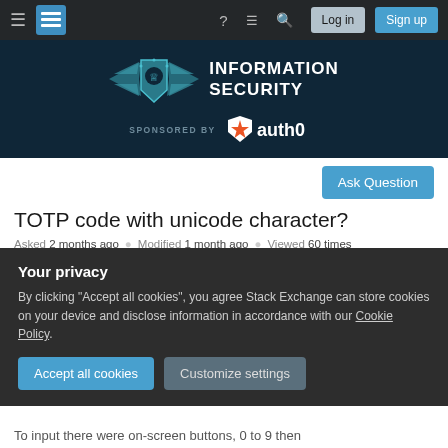Navigation bar: hamburger menu, Stack Exchange logo, help icon, chat icon, search icon, Log in button, Sign up button
[Figure (logo): Information Security Stack Exchange banner with winged shield lion logo. Sponsored by auth0.]
Ask Question
TOTP code with unicode character?
Asked 2 months ago   Modified 1 month ago   Viewed 60 times
Your privacy
By clicking "Accept all cookies", you agree Stack Exchange can store cookies on your device and disclose information in accordance with our Cookie Policy.
Accept all cookies   Customize settings
To input there were on-screen buttons, 0 to 9 then